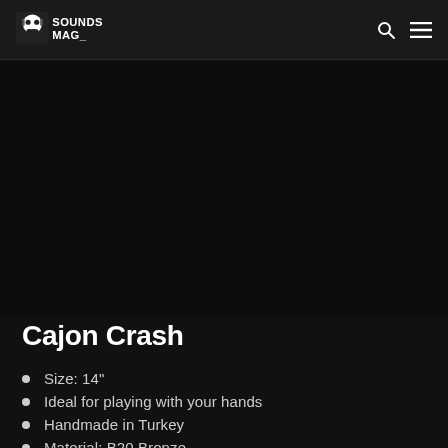SOUNDS MAG_
[Figure (photo): Dark/black area representing a product image area for Cajon Crash cymbal]
Cajon Crash
Size: 14"
Ideal for playing with your hands
Handmade in Turkey
Material: B20 Bronze